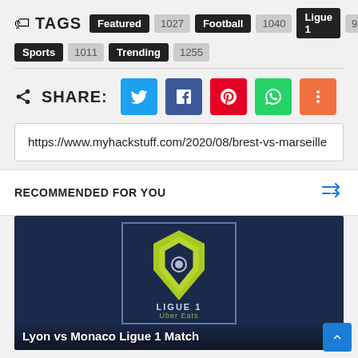TAGS Featured 1027 Football 1040 Ligue 1 97 Sports 1011 Trending 1255
SHARE:
https://www.myhackstuff.com/2020/08/brest-vs-marseille
RECOMMENDED FOR YOU
[Figure (photo): Ligue 1 logo on dark navy background with text 'Lyon vs Monaco Ligue 1 Match']